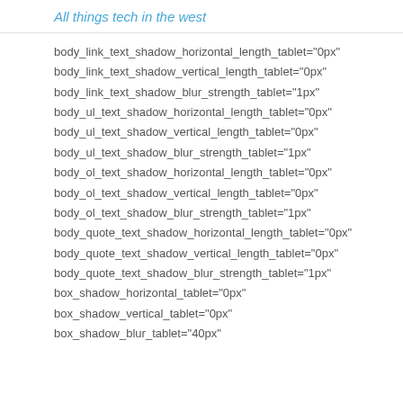All things tech in the west
body_link_text_shadow_horizontal_length_tablet="0px"
body_link_text_shadow_vertical_length_tablet="0px"
body_link_text_shadow_blur_strength_tablet="1px"
body_ul_text_shadow_horizontal_length_tablet="0px"
body_ul_text_shadow_vertical_length_tablet="0px"
body_ul_text_shadow_blur_strength_tablet="1px"
body_ol_text_shadow_horizontal_length_tablet="0px"
body_ol_text_shadow_vertical_length_tablet="0px"
body_ol_text_shadow_blur_strength_tablet="1px"
body_quote_text_shadow_horizontal_length_tablet="0px"
body_quote_text_shadow_vertical_length_tablet="0px"
body_quote_text_shadow_blur_strength_tablet="1px"
box_shadow_horizontal_tablet="0px"
box_shadow_vertical_tablet="0px"
box_shadow_blur_tablet="40px"